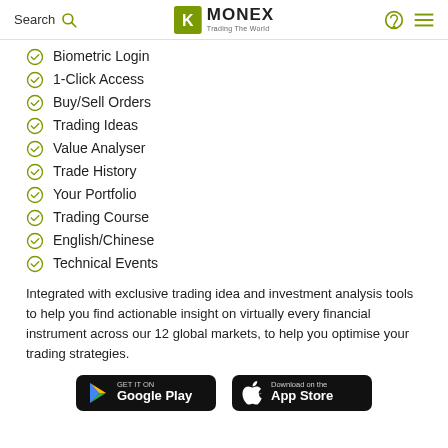Search | MONEX Trading The World
Biometric Login
1-Click Access
Buy/Sell Orders
Trading Ideas
Value Analyser
Trade History
Your Portfolio
Trading Course
English/Chinese
Technical Events
Integrated with exclusive trading idea and investment analysis tools to help you find actionable insight on virtually every financial instrument across our 12 global markets, to help you optimise your trading strategies.
[Figure (other): Google Play and App Store download buttons]